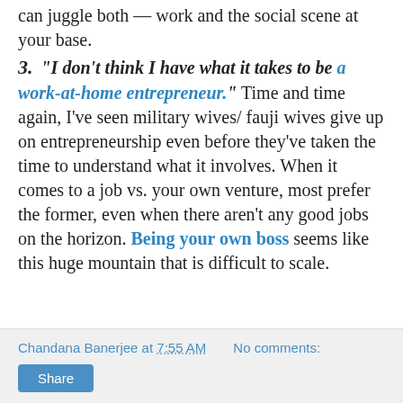can juggle both — work and the social scene at your base.
3. "I don't think I have what it takes to be a work-at-home entrepreneur." Time and time again, I've seen military wives/ fauji wives give up on entrepreneurship even before they've taken the time to understand what it involves. When it comes to a job vs. your own venture, most prefer the former, even when there aren't any good jobs on the horizon. Being your own boss seems like this huge mountain that is difficult to scale.
Chandana Banerjee at 7:55 AM   No comments:   Share